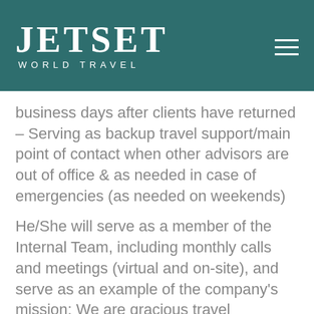JETSET WORLD TRAVEL
business days after clients have returned – Serving as backup travel support/main point of contact when other advisors are out of office & as needed in case of emergencies (as needed on weekends)
He/She will serve as a member of the Internal Team, including monthly calls and meetings (virtual and on-site), and serve as an example of the company's mission: We are gracious travel